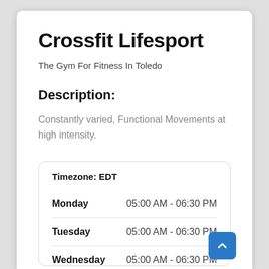Crossfit Lifesport
The Gym For Fitness In Toledo
Description:
Constantly varied, Functional Movements at high intensity.
|  |  |
| --- | --- |
| Timezone: EDT |  |
| Monday | 05:00 AM - 06:30 PM |
| Tuesday | 05:00 AM - 06:30 PM |
| Wednesday | 05:00 AM - 06:30 PM |